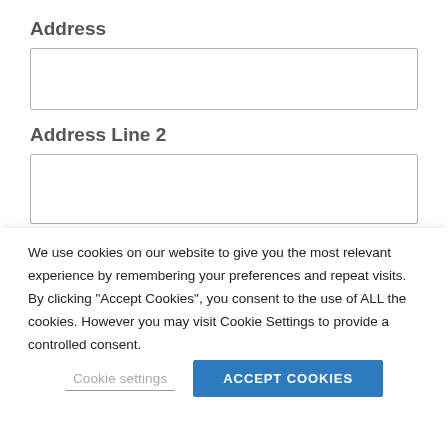Address
Address Line 2
We use cookies on our website to give you the most relevant experience by remembering your preferences and repeat visits. By clicking “Accept Cookies”, you consent to the use of ALL the cookies. However you may visit Cookie Settings to provide a controlled consent.
Cookie settings | ACCEPT COOKIES